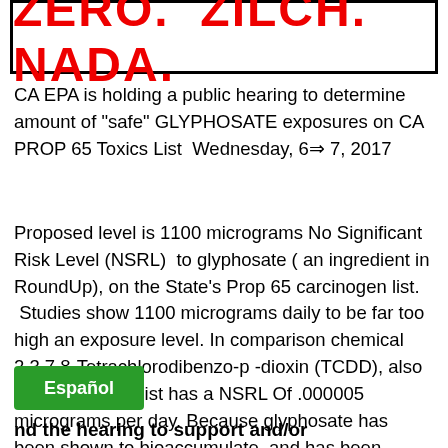[Figure (other): Red bold text banner reading ZERO. ZILCH. NADA. inside a black border box]
CA EPA is holding a public hearing to determine amount of "safe" GLYPHOSATE exposures on CA PROP 65 Toxics List  Wednesday, 6→ 7, 2017
Proposed level is 1100 micrograms No Significant Risk Level (NSRL)  to glyphosate ( an ingredient in RoundUp), on the State’s Prop 65 carcinogen list.  Studies show 1100 micrograms daily to be far too high an exposure level. In comparison chemical 2,3,7,8-Tetrachlorodibenzo-p -dioxin (TCDD), also on the Prop 65 list has a NSRL Of .000005 micrograms per day. Because glyphosate has been shown to bioaccumulate, and has been shown in the parts per trillion, to increase the growth of breast cancer cells, the reality is that there is no safe level.
[Figure (other): Green button labeled Español]
nd the hearing to support and/or